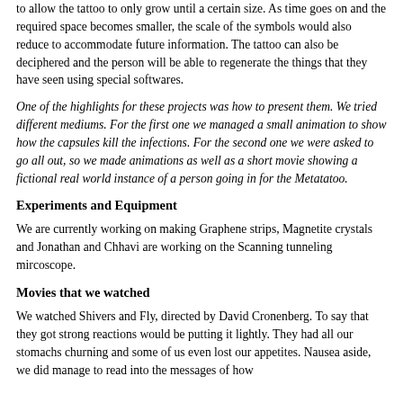to allow the tattoo to only grow until a certain size. As time goes on and the required space becomes smaller, the scale of the symbols would also reduce to accommodate future information. The tattoo can also be deciphered and the person will be able to regenerate the things that they have seen using special softwares.
One of the highlights for these projects was how to present them. We tried different mediums. For the first one we managed a small animation to show how the capsules kill the infections. For the second one we were asked to go all out, so we made animations as well as a short movie showing a fictional real world instance of a person going in for the Metatatoo.
Experiments and Equipment
We are currently working on making Graphene strips, Magnetite crystals and Jonathan and Chhavi are working on the Scanning tunneling mircoscope.
Movies that we watched
We watched Shivers and Fly, directed by David Cronenberg. To say that they got strong reactions would be putting it lightly. They had all our stomachs churning and some of us even lost our appetites. Nausea aside, we did manage to read into the messages of how